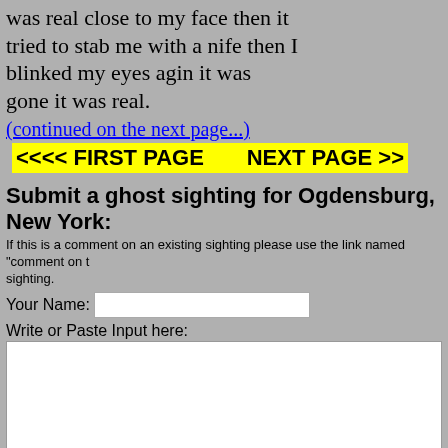was real close to my face then it tried to stab me with a nife then I blinked my eyes agin it was gone it was real.
(continued on the next page...)
<<<< FIRST PAGE      NEXT PAGE >>
Submit a ghost sighting for Ogdensburg, New York:
If this is a comment on an existing sighting please use the link named "comment on t sighting.
Your Name:
Write or Paste Input here:
Upload picture: Choose File  No file chosen